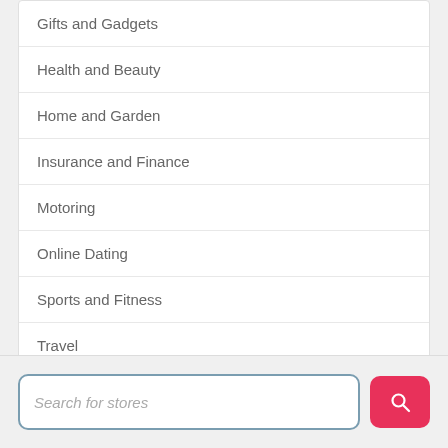Gifts and Gadgets
Health and Beauty
Home and Garden
Insurance and Finance
Motoring
Online Dating
Sports and Fitness
Travel
Utilities
Search for stores